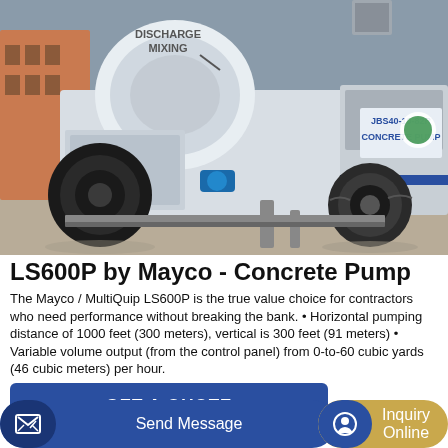[Figure (photo): Photo of a Mayco / MultiQuip LS600P concrete pump on a trailer, white colored machine with large mixing drum labeled DISCHARGE MIXING, large black rubber wheel, blue hydraulic connector, JBS40-10-82R CONCRETE PUMP branding on the side, outdoors on pavement]
LS600P by Mayco - Concrete Pump
The Mayco / MultiQuip LS600P is the true value choice for contractors who need performance without breaking the bank. • Horizontal pumping distance of 1000 feet (300 meters), vertical is 300 feet (91 meters) • Variable volume output (from the control panel) from 0-to-60 cubic yards (46 cubic meters) per hour.
GET A QUOTE
Send Message
Inquiry Online